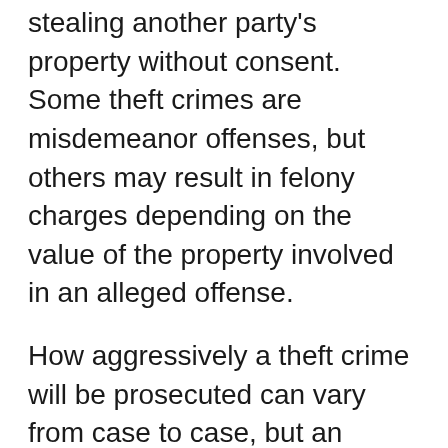stealing another party's property without consent. Some theft crimes are misdemeanor offenses, but others may result in felony charges depending on the value of the property involved in an alleged offense.
How aggressively a theft crime will be prosecuted can vary from case to case, but an alleged offender should not take any chances. Anybody who is accused of a theft offense will want to make sure they retain legal counsel that is adept at dealing with these kinds of criminal charges.
Were you recently arrested for a theft offense in Parker County? You will want to be sure that you have a skilled criminal defense lawyer by your side for every